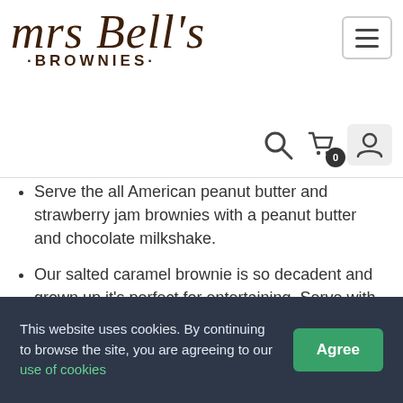[Figure (logo): Mrs Bell's Brownies logo in dark brown handwritten script with BROWNIES subtitle in bold spaced capitals]
[Figure (infographic): Navigation icons: search (magnifying glass), shopping bag with badge showing 0, account (person silhouette) on grey rounded background]
Serve the all American peanut butter and strawberry jam brownies with a peanut butter and chocolate milkshake.
Our salted caramel brownie is so decadent and grown up it's perfect for entertaining. Serve with parfait, a shard of brazil nut brittle and more salted caramel sauce.
Lotus biscuit brownies are perfect for when you can't decide between a cake and biscuit. They're great with some of t...
This website uses cookies. By continuing to browse the site, you are agreeing to our use of cookies